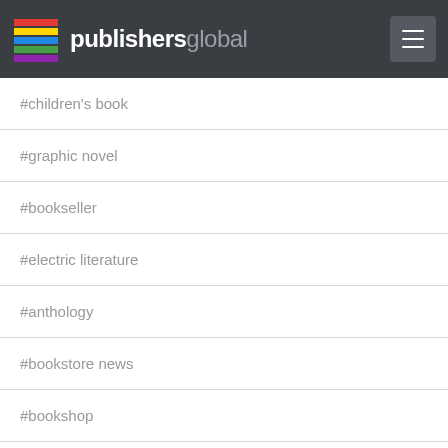publishersglobal
#children's book
#graphic novel
#bookseller
#electric literature
#anthology
#bookstore news
#bookshop
#bestselling author
#bestselling ibooks